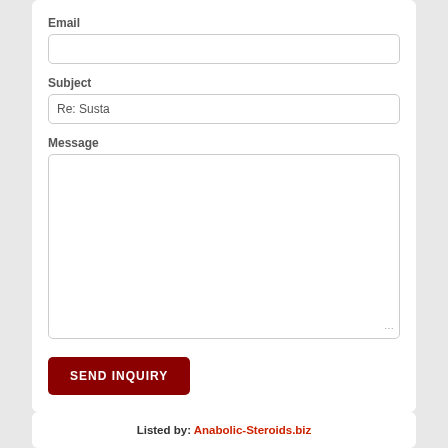Email
Subject
Re: Susta
Message
SEND INQUIRY
Listed by: Anabolic-Steroids.biz